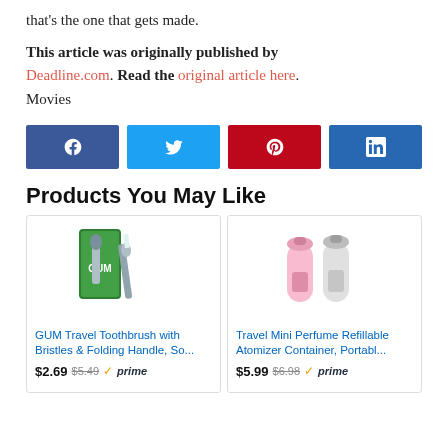that's the one that gets made.
This article was originally published by Deadline.com. Read the original article here.
Movies
[Figure (infographic): Four social media share buttons: Facebook (dark blue, f icon), Twitter (light blue, bird icon), Pinterest (red, p icon), LinkedIn (blue, in icon).]
Products You May Like
[Figure (photo): GUM travel toothbrush product packaging with folding handle and bristles, shown against white background.]
GUM Travel Toothbrush with Bristles & Folding Handle, So...
$2.69  $5.49  ✓prime
[Figure (photo): Two travel mini perfume refillable atomizer containers, one pink and one silver, on white background.]
Travel Mini Perfume Refillable Atomizer Container, Portabl...
$5.99  $6.98  ✓prime